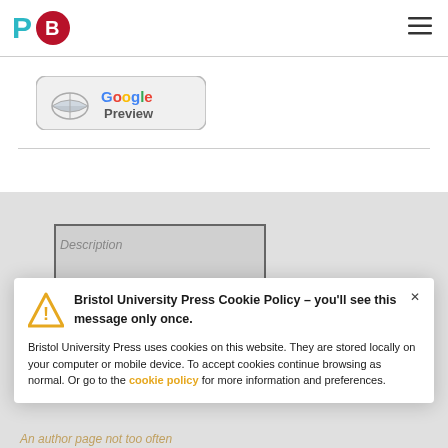P [logo] B [logo] [hamburger menu]
[Figure (logo): Google Preview button with book icon]
[Figure (screenshot): Bristol University Press website screenshot with cookie policy modal overlay. Modal contains warning triangle icon, title 'Bristol University Press Cookie Policy - you'll see this message only once.', body text about cookies, and a highlighted 'cookie policy' link.]
Bristol University Press Cookie Policy - you'll see this message only once.
Bristol University Press uses cookies on this website. They are stored locally on your computer or mobile device. To accept cookies continue browsing as normal. Or go to the cookie policy for more information and preferences.